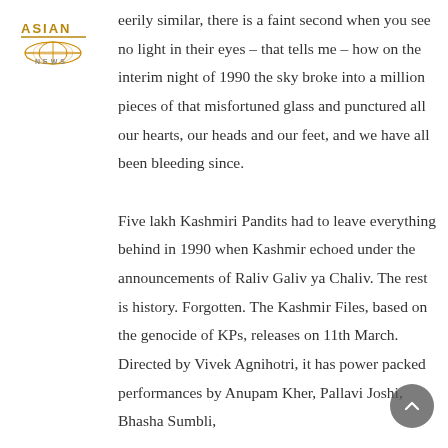[Figure (logo): Asian News logo - stylized text 'ASIAN' with a globe/network graphic beneath in orange/amber tones]
eerily similar, there is a faint second when you see no light in their eyes – that tells me – how on the interim night of 1990 the sky broke into a million pieces of that misfortuned glass and punctured all our hearts, our heads and our feet, and we have all been bleeding since.

Five lakh Kashmiri Pandits had to leave everything behind in 1990 when Kashmir echoed under the announcements of Raliv Galiv ya Chaliv. The rest is history. Forgotten. The Kashmir Files, based on the genocide of KPs, releases on 11th March. Directed by Vivek Agnihotri, it has power packed performances by Anupam Kher, Pallavi Joshi, Bhasha Sumbli,